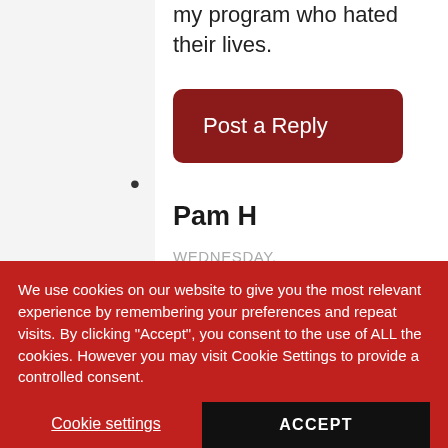my program who hated their lives.
Post a Reply
Pam H
WEDNESDAY, JANUARY 22,
We use cookies on our website to give you the most relevant experience by remembering your preferences and repeat visits. By clicking "Accept", you consent to the use of ALL the cookies. However you may visit Cookie Settings to provide a controlled consent.
Cookie settings
ACCEPT